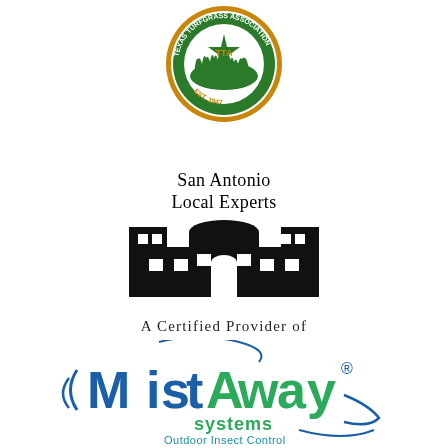[Figure (logo): Texas Turfgrass Association (TTA) circular logo with gold border, green grass and star design, 'TTA' text in center, 'TEXAS TURFGRASS ASSOCIATION' around top, 'EST. 1947' around bottom]
[Figure (logo): San Antonio Local Experts logo with serif text 'San Antonio Local Experts' above a black silhouette of the Alamo building]
A Certified Provider of
[Figure (logo): MistAway Systems logo with blue and green stylized text 'MistAway' with swoosh decorations and registered trademark symbol, 'systems' below in green, 'Outdoor Insect Control' tagline in teal/blue]